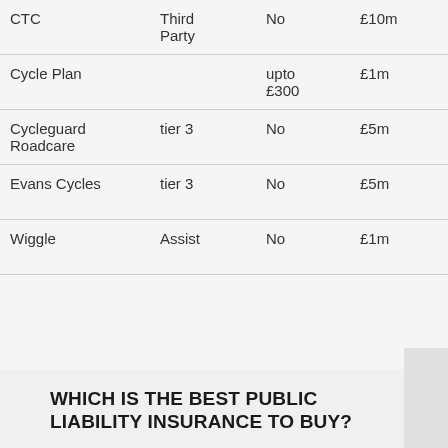| Provider | Type | Theft | Public Liability | Bike Cover |
| --- | --- | --- | --- | --- |
| CTC | Third Party | No | £10m | No |
| Cycle Plan |  | upto £300 | £1m | £10,0... |
| Cycleguard Roadcare | tier 3 | No | £5m | upt... £10,0... |
| Evans Cycles | tier 3 | No | £5m | upt... £10,0... |
| Wiggle | Assist | No | £1m | upt... £10,0... |
WHICH IS THE BEST PUBLIC LIABILITY INSURANCE TO BUY?